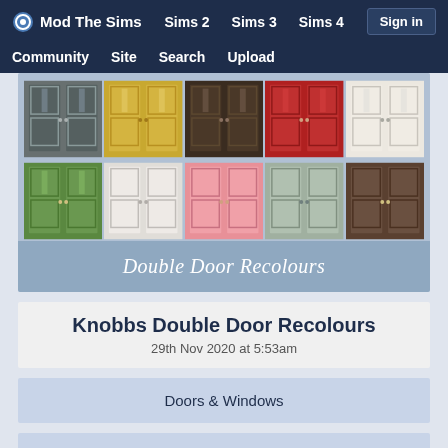Mod The Sims  Sims 2  Sims 3  Sims 4  Sign in  Community  Site  Search  Upload
[Figure (screenshot): Grid of double door recolours in various colors (grey, yellow, dark brown, red, purple, cream in top row; green, white, pink, sage, dark brown, green in bottom row) with text 'Double Door Recolours' at bottom]
Knobbs Double Door Recolours
29th Nov 2020 at 5:53am
Doors & Windows
[Figure (screenshot): Partial view of another content card with a green background element and a view count badge showing 4.3k]